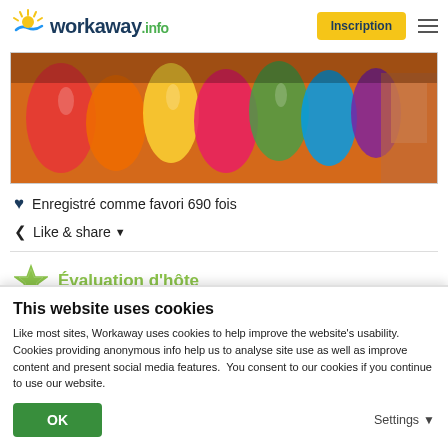workaway.info — Inscription
[Figure (photo): Colorful lanterns displayed at a market; a person in patterned clothing visible at right]
♥ Enregistré comme favori 690 fois
< Like & share ▼
Évaluation d'hôte
This website uses cookies
Like most sites, Workaway uses cookies to help improve the website's usability. Cookies providing anonymous info help us to analyse site use as well as improve content and present social media features.  You consent to our cookies if you continue to use our website.
OK    Settings ▼